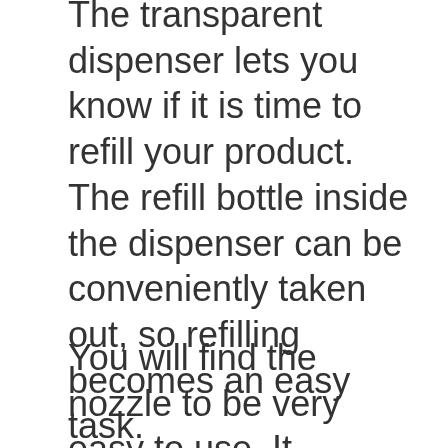The transparent dispenser lets you know if it is time to refill your product. The refill bottle inside the dispenser can be conveniently taken out, so refilling becomes an easy task.
You will find the nozzle to be very easy to use. It dispenses efficiently, so you save more by eliminating unnecessary waste. On top of the dispenser, there is a lock that comes with a key – a must-have feature if you plan on using this product for commercial or business purposes.
Because of its high-grade materials and environmentally-friendly ABS plastic, it